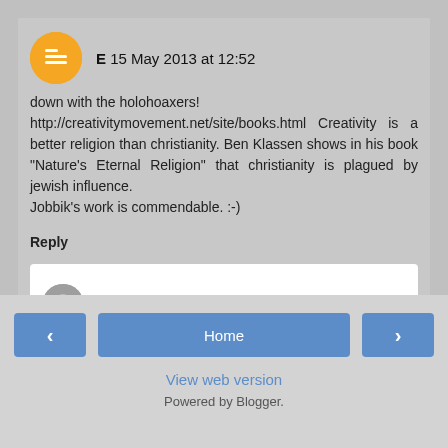E  15 May 2013 at 12:52
down with the holohoaxers! http://creativitymovement.net/site/books.html Creativity is a better religion than christianity. Ben Klassen shows in his book "Nature's Eternal Religion" that christianity is plagued by jewish influence.
Jobbik's work is commendable. :-)
Reply
Enter comment
Home
View web version
Powered by Blogger.